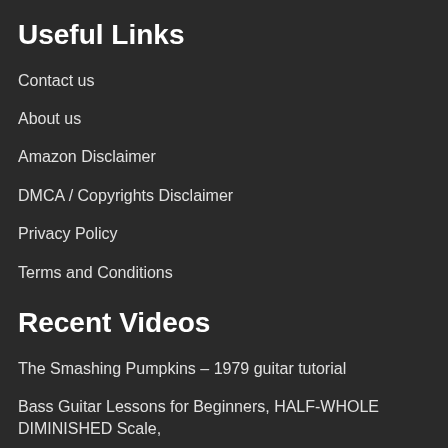Useful Links
Contact us
About us
Amazon Disclaimer
DMCA / Copyrights Disclaimer
Privacy Policy
Terms and Conditions
Recent Videos
The Smashing Pumpkins – 1979 guitar tutorial
Bass Guitar Lessons for Beginners, HALF-WHOLE DIMINISHED Scale,